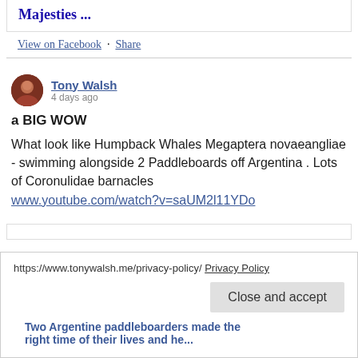Majesties ...
View on Facebook · Share
Tony Walsh
4 days ago
a BIG WOW
What look like Humpback Whales Megaptera novaeangliae - swimming alongside 2 Paddleboards off Argentina . Lots of Coronulidae barnacles
www.youtube.com/watch?v=saUM2l11YDo
https://www.tonywalsh.me/privacy-policy/ Privacy Policy
Close and accept
Two Argentine paddleboarders made the right time of their lives and he...